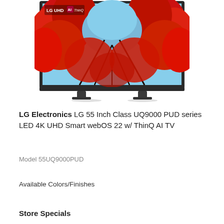[Figure (photo): LG UHD AI ThinQ television displaying red autumn tree canopy against blue sky, shown with stand, product photo]
LG Electronics LG 55 Inch Class UQ9000 PUD series LED 4K UHD Smart webOS 22 w/ ThinQ AI TV
Model 55UQ9000PUD
Available Colors/Finishes
Store Specials